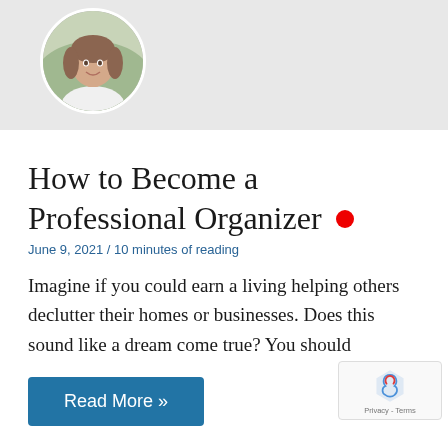[Figure (photo): Circular profile photo of a smiling woman in a white shirt against a blurred green background, positioned in the top-left of a light gray banner area]
How to Become a Professional Organizer
June 9, 2021 / 10 minutes of reading
Imagine if you could earn a living helping others declutter their homes or businesses. Does this sound like a dream come true? You should
Read More »